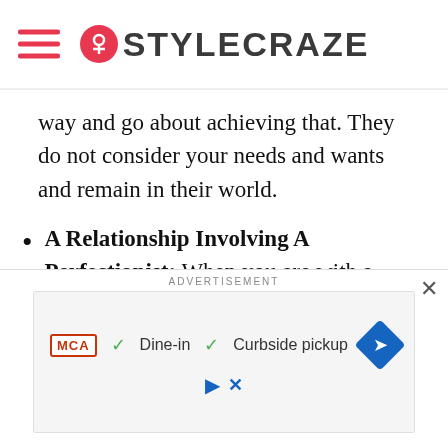STYLECRAZE
way and go about achieving that. They do not consider your needs and wants and remain in their world.
A Relationship Involving A Perfectionist: When you are with a perfectionist, you may end up never being good enough. You may go out of your way to make things work, but the other person will always find fault with your efforts and the results you achieve.
ADVERTISEMENT